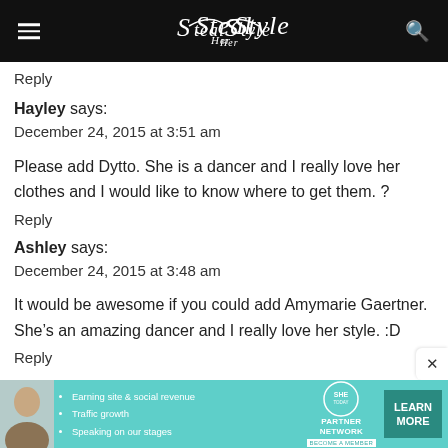Steal Her Style
Reply
Hayley says:
December 24, 2015 at 3:51 am
Please add Dytto. She is a dancer and I really love her clothes and I would like to know where to get them. ?
Reply
Ashley says:
December 24, 2015 at 3:48 am
It would be awesome if you could add Amymarie Gaertner. She’s an amazing dancer and I really love her style. :D
Reply
[Figure (infographic): SHE Partner Network advertisement banner in teal/mint color with woman photo, bullet points about earning site & social revenue, traffic growth, speaking on our stages, SHE Partner Network logo, and Learn More button]